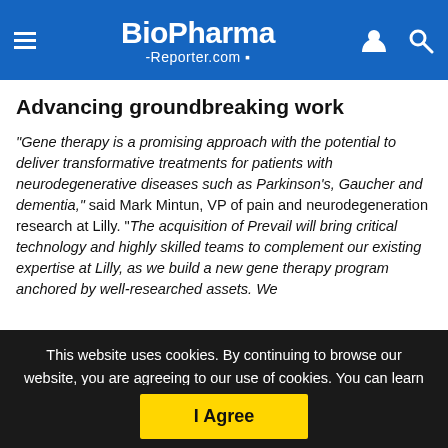BioPharma-Reporter.com
Advancing groundbreaking work
"Gene therapy is a promising approach with the potential to deliver transformative treatments for patients with neurodegenerative diseases such as Parkinson's, Gaucher and dementia," said Mark Mintun, VP of pain and neurodegeneration research at Lilly. "The acquisition of Prevail will bring critical technology and highly skilled teams to complement our existing expertise at Lilly, as we build a new gene therapy program anchored by well-researched assets. We
This website uses cookies. By continuing to browse our website, you are agreeing to our use of cookies. You can learn more about cookies by visiting our privacy & cookies policy page.
I Agree